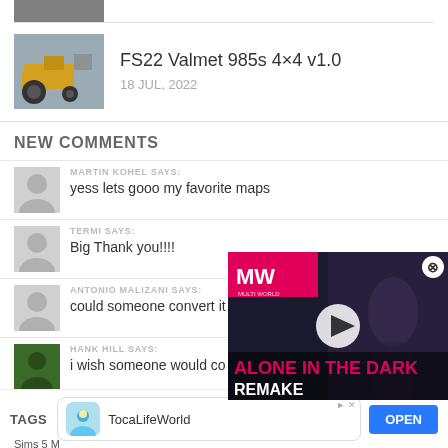[Figure (screenshot): Partial thumbnail of a game screenshot at top]
[Figure (screenshot): Thumbnail of FS22 Valmet 985s 4x4 tractor game mod]
FS22 Valmet 985s 4×4 v1.0
18 JUL, 2022
NEW COMMENTS
MARTIN KOHEL SAYS:
yess lets gooo my favorite maps
TERMI SAYS:
Big Thank you!!!!
ANTONIO MALIZANI SAYS:
could someone convert it
HANK HILL SAYS:
i wish someone would co
[Figure (screenshot): Video ad overlay: ALONE IN THE DARK REMAKE with MW logo and play button]
TAGS
TocaLifeWorld
Sims 5 M